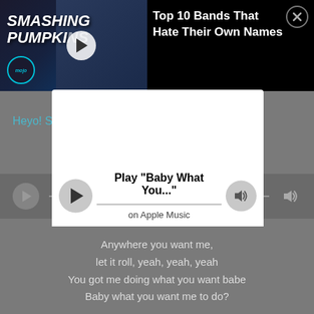[Figure (screenshot): WatchMojo thumbnail showing Smashing Pumpkins text and a person wearing a cowboy hat, with a play button overlay]
Top 10 Bands That Hate Their Own Names
Heyo! S... RIFF-it.
Play "Baby What You..." on Apple Music
Anywhere you want me, let it roll, yeah, yeah, yeah You got me doing what you want babe Baby what you want me to do?